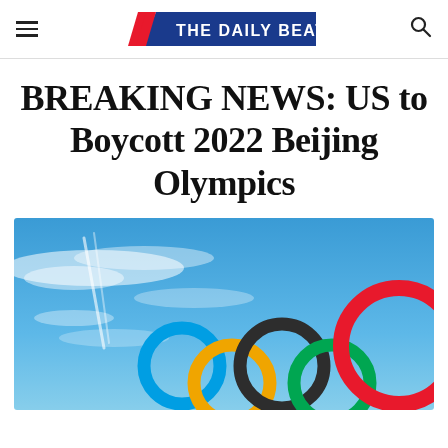THE DAILY BEAT
BREAKING NEWS: US to Boycott 2022 Beijing Olympics
[Figure (photo): Olympic rings sculpture against a blue sky with clouds — large colourful interlocking rings (blue, yellow, dark/black, green, red) photographed from below against a bright blue sky.]